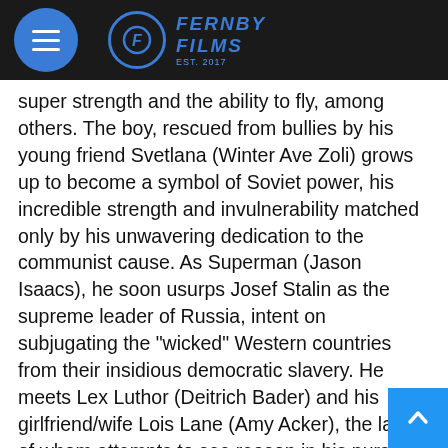Fernby Films
super strength and the ability to fly, among others. The boy, rescued from bullies by his young friend Svetlana (Winter Ave Zoli) grows up to become a symbol of Soviet power, his incredible strength and invulnerability matched only by his unwavering dedication to the communist cause. As Superman (Jason Isaacs), he soon usurps Josef Stalin as the supreme leader of Russia, intent on subjugating the “wicked” Western countries from their insidious democratic slavery. He meets Lex Luthor (Deitrich Bader) and his girlfriend/wife Lois Lane (Amy Acker), the latter of whom attempts to see reason in his pursuit of dictatorial rule, whilst the former seeks to create a counter to Superman’s power the form of Superior Man (Travis Willingham),